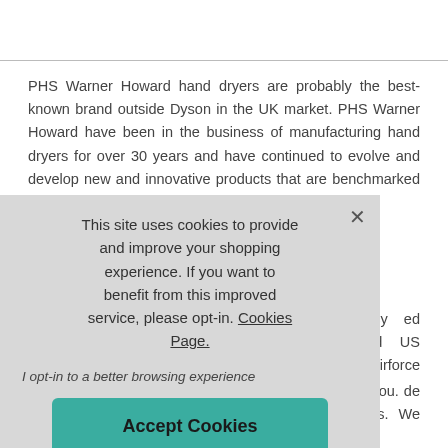PHS Warner Howard hand dryers are probably the best-known brand outside Dyson in the UK market. PHS Warner Howard have been in the business of manufacturing hand dryers for over 30 years and have continued to evolve and develop new and innovative products that are benchmarked against the
This site uses cookies to provide and improve your shopping experience. If you want to benefit from this improved service, please opt-in. Cookies Page.
I opt-in to a better browsing experience
Accept Cookies
...ollection of legacy ...ed SM48, Mr48 and ...US producer World Airforce and the
...rner Howard Hand ...w at the bottom of ...ine is best for you. ...de on this website ...ment through our charity partners. We promise to price match any PHS Warner